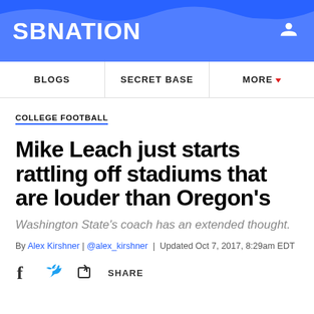[Figure (logo): SBNation website header with blue background and white SBNation logo text, user icon top right, decorative wave pattern]
BLOGS | SECRET BASE | MORE
COLLEGE FOOTBALL
Mike Leach just starts rattling off stadiums that are louder than Oregon's
Washington State's coach has an extended thought.
By Alex Kirshner | @alex_kirshner | Updated Oct 7, 2017, 8:29am EDT
[Figure (infographic): Social share buttons: Facebook, Twitter, and Share icons with SHARE label]